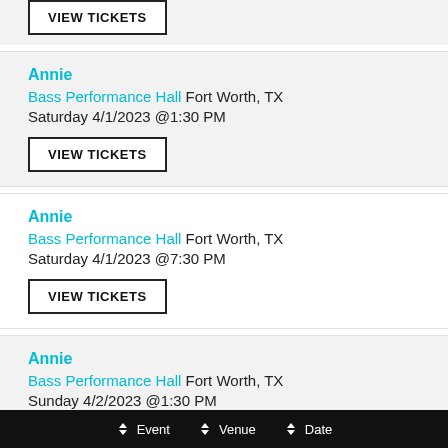Annie
Bass Performance Hall Fort Worth, TX
Saturday 4/1/2023 @1:30 PM
VIEW TICKETS
Annie
Bass Performance Hall Fort Worth, TX
Saturday 4/1/2023 @7:30 PM
VIEW TICKETS
Annie
Bass Performance Hall Fort Worth, TX
Sunday 4/2/2023 @1:30 PM
Event   Venue   Date